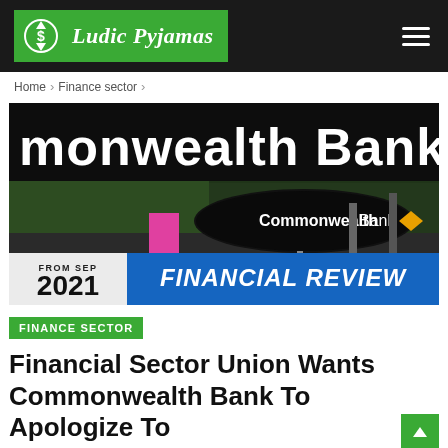Ludic Pyjamas
Home > Finance sector >
[Figure (photo): Commonwealth Bank street signage photo with 'FROM SEP 2021' and 'FINANCIAL REVIEW' overlay banners]
FINANCE SECTOR
Financial Sector Union Wants Commonwealth Bank To Apologize To